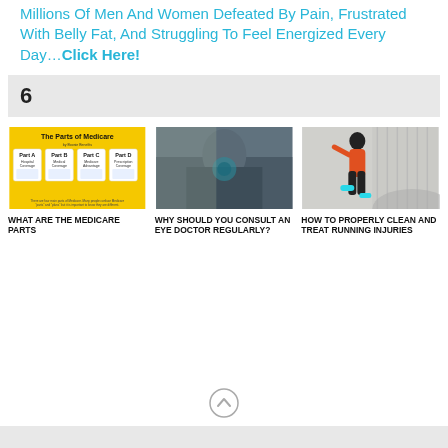Millions Of Men And Women Defeated By Pain, Frustrated With Belly Fat, And Struggling To Feel Energized Every Day…Click Here!
6
[Figure (infographic): The Parts of Medicare infographic showing Part A (Hospital Coverage), Part B (Medical Coverage), Part C (Medicare Advantage), Part D (Prescription Coverage) on yellow background]
[Figure (photo): Person consulting an eye doctor, close-up photo]
[Figure (photo): Woman running in athletic wear on a path, wearing orange top and black leggings]
WHAT ARE THE MEDICARE PARTS
WHY SHOULD YOU CONSULT AN EYE DOCTOR REGULARLY?
HOW TO PROPERLY CLEAN AND TREAT RUNNING INJURIES